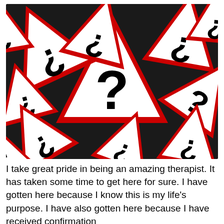[Figure (illustration): A chaotic collage of red-bordered triangular warning road signs, each containing a large black question mark or inverted question mark symbol, overlapping and rotated in various directions on a dark background.]
I take great pride in being an amazing therapist.  It has taken some time to get here for sure.  I have gotten here because I know this is my life's purpose.  I have also gotten here because I have received confirmation